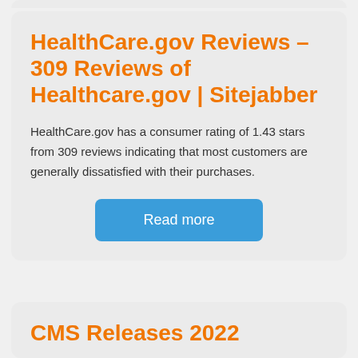HealthCare.gov Reviews – 309 Reviews of Healthcare.gov | Sitejabber
HealthCare.gov has a consumer rating of 1.43 stars from 309 reviews indicating that most customers are generally dissatisfied with their purchases.
CMS Releases 2022